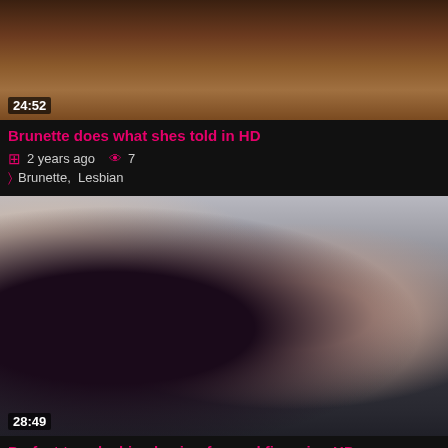[Figure (photo): Video thumbnail showing close-up of brunette hair, duration 24:52]
Brunette does what shes told in HD
⊞ 2 years ago 👁 7
📁 Brunette, Lesbian
[Figure (photo): Video thumbnail showing two young women sitting on a couch, one with glasses wearing pink, one in floral dress, duration 28:49]
Perfect teen lesbian having fun and fingering HD
⊞ 2 years ago 👁 19
📁 Brunette, Fingering
[Figure (photo): Partial thumbnail of third video at bottom of page]